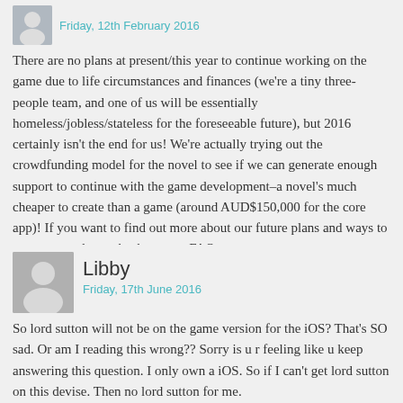Friday, 12th February 2016
There are no plans at present/this year to continue working on the game due to life circumstances and finances (we're a tiny three-people team, and one of us will be essentially homeless/jobless/stateless for the foreseeable future), but 2016 certainly isn't the end for us! We're actually trying out the crowdfunding model for the novel to see if we can generate enough support to continue with the game development–a novel's much cheaper to create than a game (around AUD$150,000 for the core app)! If you want to find out more about our future plans and ways to support us, please check out our FAQ.
Reply
Libby
Friday, 17th June 2016
So lord sutton will not be on the game version for the iOS? That's SO sad. Or am I reading this wrong?? Sorry is u r feeling like u keep answering this question. I only own a iOS. So if I can't get lord sutton on this devise. Then no lord sutton for me.
Reply